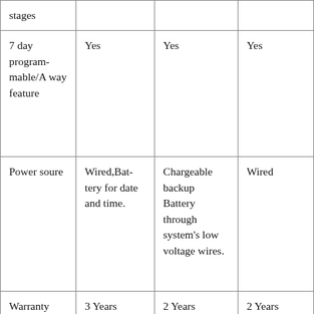| stages |  |  |  |
| 7 day programmable/Away feature | Yes | Yes | Yes |
| Power soure | Wired,Battery for date and time. | Chargeable backup Battery through system's low voltage wires. | Wired |
| Warranty | 3 Years | 2 Years | 2 Years |